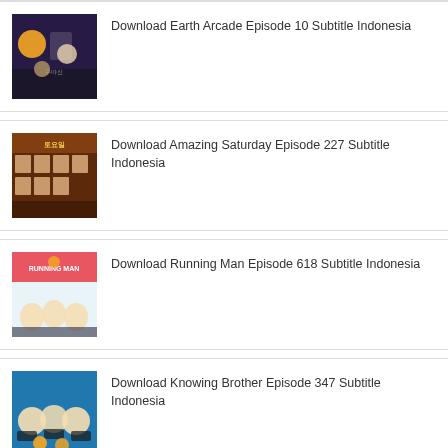Download Earth Arcade Episode 10 Subtitle Indonesia
Download Amazing Saturday Episode 227 Subtitle Indonesia
Download Running Man Episode 618 Subtitle Indonesia
Download Knowing Brother Episode 347 Subtitle Indonesia